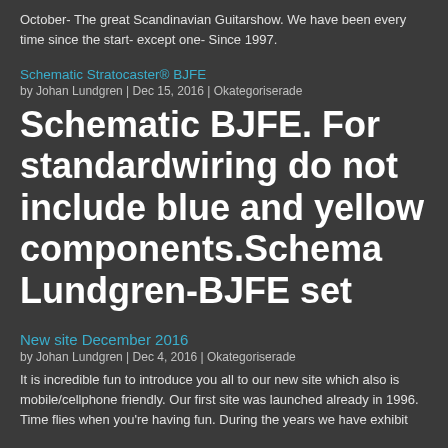October- The great Scandinavian Guitarshow. We have been every time since the start- except one- Since 1997.
Schematic Stratocaster® BJFE
by Johan Lundgren | Dec 15, 2016 | Okategoriserade
Schematic BJFE. For standardwiring do not include blue and yellow components.Schema Lundgren-BJFE set
New site December 2016
by Johan Lundgren | Dec 4, 2016 | Okategoriserade
It is incredible fun to introduce you all to our new site which also is mobile/cellphone friendly. Our first site was launched already in 1996. Time flies when you're having fun. During the years we have exhibit